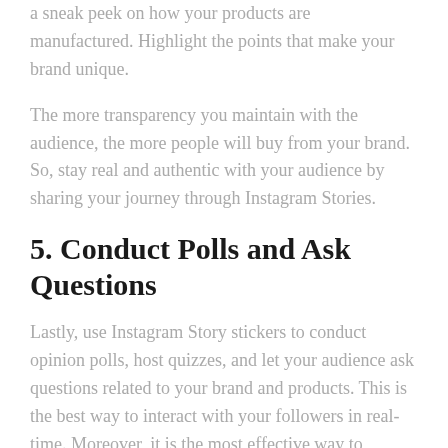a sneak peek on how your products are manufactured. Highlight the points that make your brand unique.
The more transparency you maintain with the audience, the more people will buy from your brand. So, stay real and authentic with your audience by sharing your journey through Instagram Stories.
5. Conduct Polls and Ask Questions
Lastly, use Instagram Story stickers to conduct opinion polls, host quizzes, and let your audience ask questions related to your brand and products. This is the best way to interact with your followers in real-time. Moreover, it is the most effective way to skyrocket your engagement rate.
You can even save such stories to Instagram Highlights so that the followers can watch them again. This will also